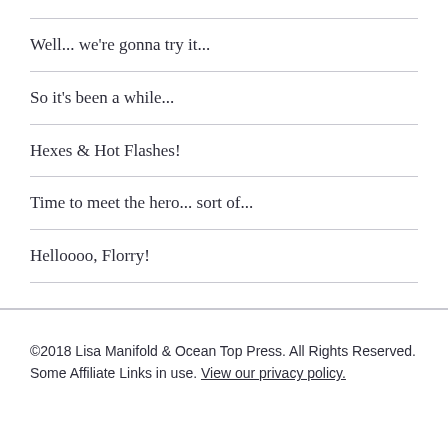Well... we're gonna try it...
So it's been a while...
Hexes & Hot Flashes!
Time to meet the hero... sort of...
Helloooo, Florry!
©2018 Lisa Manifold & Ocean Top Press. All Rights Reserved. Some Affiliate Links in use. View our privacy policy.